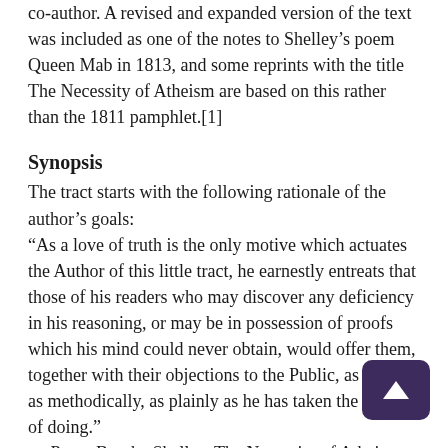co-author. A revised and expanded version of the text was included as one of the notes to Shelley's poem Queen Mab in 1813, and some reprints with the title The Necessity of Atheism are based on this rather than the 1811 pamphlet.[1]
Synopsis
The tract starts with the following rationale of the author's goals:
“As a love of truth is the only motive which actuates the Author of this little tract, he earnestly entreats that those of his readers who may discover any deficiency in his reasoning, or may be in possession of proofs which his mind could never obtain, would offer them, together with their objections to the Public, as briefly, as methodically, as plainly as he has taken the liberty of doing.”
— Percy Bysshe Shelley, The Necessity of Atheism
Shelley made a number of claims in Necessity, including one's beliefs are involuntary, and, therefore, that atheists do